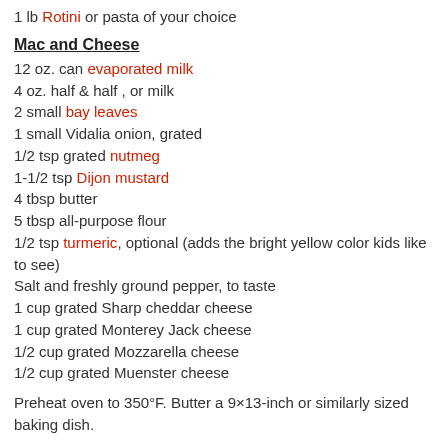1 lb Rotini or pasta of your choice
Mac and Cheese
12 oz. can evaporated milk
4 oz. half & half , or milk
2 small bay leaves
1 small Vidalia onion, grated
1/2 tsp grated nutmeg
1-1/2 tsp Dijon mustard
4 tbsp butter
5 tbsp all-purpose flour
1/2 tsp turmeric, optional (adds the bright yellow color kids like to see)
Salt and freshly ground pepper, to taste
1 cup grated Sharp cheddar cheese
1 cup grated Monterey Jack cheese
1/2 cup grated Mozzarella cheese
1/2 cup grated Muenster cheese
Preheat oven to 350°F. Butter a 9×13-inch or similarly sized baking dish.
Prepare To...